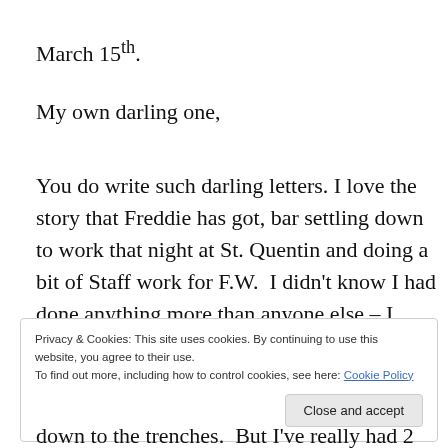March 15th.
My own darling one,
You do write such darling letters. I love the story that Freddie has got, bar settling down to work that night at St. Quentin and doing a bit of Staff work for F.W.  I didn't know I had done anything more than anyone else – I shall be
Privacy & Cookies: This site uses cookies. By continuing to use this website, you agree to their use.
To find out more, including how to control cookies, see here: Cookie Policy
down to the trenches.  But I've really had 2 good night's